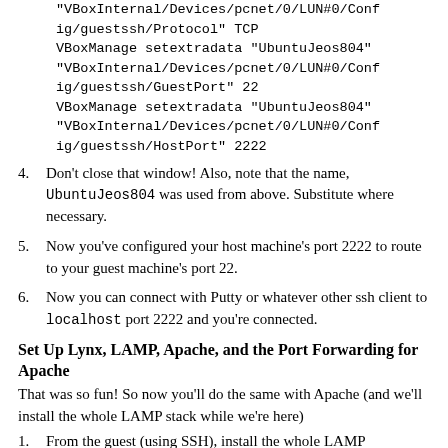"VBoxInternal/Devices/pcnet/0/LUN#0/Config/guestssh/Protocol" TCP
VBoxManage setextradata "UbuntuJeos804"
"VBoxInternal/Devices/pcnet/0/LUN#0/Config/guestssh/GuestPort" 22
VBoxManage setextradata "UbuntuJeos804"
"VBoxInternal/Devices/pcnet/0/LUN#0/Config/guestssh/HostPort" 2222
4. Don't close that window! Also, note that the name, UbuntuJeos804 was used from above. Substitute where necessary.
5. Now you've configured your host machine's port 2222 to route to your guest machine's port 22.
6. Now you can connect with Putty or whatever other ssh client to localhost port 2222 and you're connected.
Set Up Lynx, LAMP, Apache, and the Port Forwarding for Apache
That was so fun! So now you'll do the same with Apache (and we'll install the whole LAMP stack while we're here)
1. From the guest (using SSH), install the whole LAMP